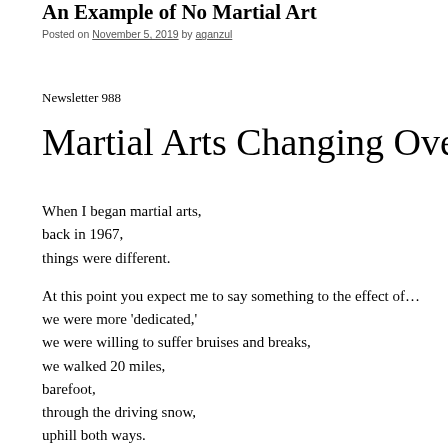An Example of No Martial Art
Posted on November 5, 2019 by aganzul
Newsletter 988
Martial Arts Changing Over the
When I began martial arts,
back in 1967,
things were different.

At this point you expect me to say something to the effect of…
we were more 'dedicated,'
we were willing to suffer bruises and breaks,
we walked 20 miles,
barefoot,
through the driving snow,
uphill both ways.